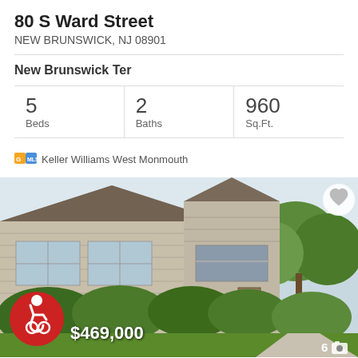80 S Ward Street
NEW BRUNSWICK, NJ 08901
New Brunswick Ter
| Beds | Baths | Sq.Ft. |
| --- | --- | --- |
| 5 | 2 | 960 |
Keller Williams West Monmouth
[Figure (photo): Exterior photo of a residential townhouse/apartment building with tan/beige wood siding, shrubs in front, steps leading to entrance, with trees on the right side. Accessibility symbol icon in bottom left. Price $469,000 shown at bottom left. Photo count '6' with camera icon at bottom right.]